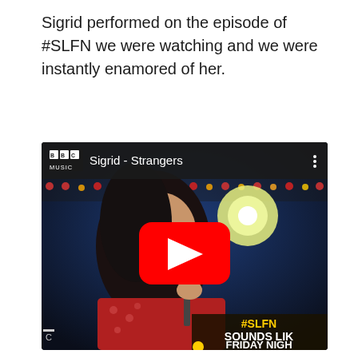Sigrid performed on the episode of #SLFN we were watching and we were instantly enamored of her.
[Figure (screenshot): YouTube video thumbnail showing Sigrid performing 'Strangers' on BBC Music. The thumbnail shows a young woman singing into a microphone on a dark stage with stage lights. A large red YouTube play button is centered on the image. In the bottom right corner, '#SLFN' and 'SOUNDS LIKE FRIDAY NIGHT' branding text is visible. The video title bar at the top reads 'BBC MUSIC  Sigrid - Strangers' with a three-dot menu icon.]